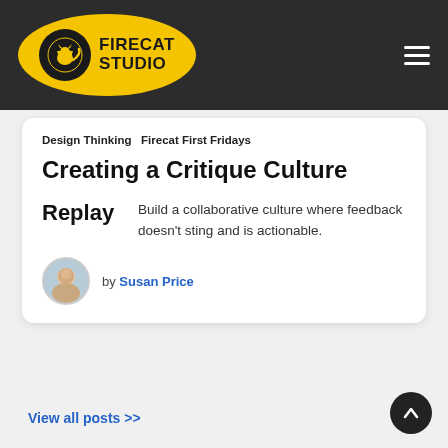[Figure (logo): Firecat Studio logo: yellow oval with black cat silhouette icon and bold text FIRECAT STUDIO]
Design Thinking   Firecat First Fridays
Creating a Critique Culture
Replay   Build a collaborative culture where feedback doesn't sting and is actionable.
by Susan Price
View all posts >>